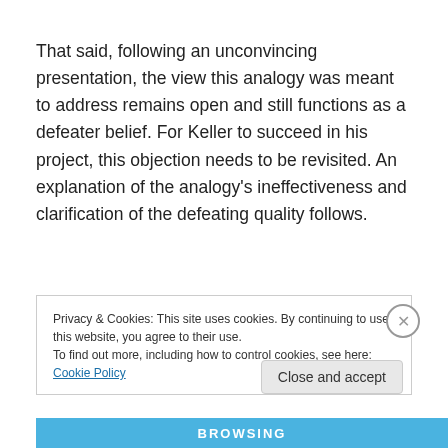That said, following an unconvincing presentation, the view this analogy was meant to address remains open and still functions as a defeater belief. For Keller to succeed in his project, this objection needs to be revisited. An explanation of the analogy's ineffectiveness and clarification of the defeating quality follows.
Privacy & Cookies: This site uses cookies. By continuing to use this website, you agree to their use. To find out more, including how to control cookies, see here: Cookie Policy
Close and accept